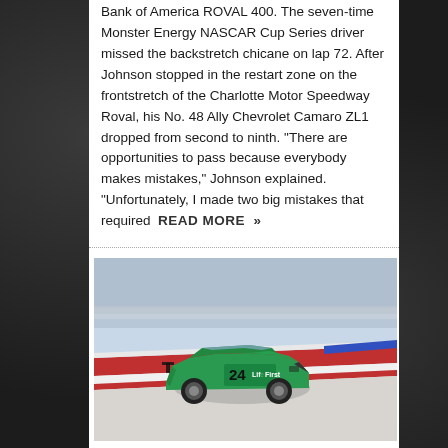Bank of America ROVAL 400. The seven-time Monster Energy NASCAR Cup Series driver missed the backstretch chicane on lap 72. After Johnson stopped in the restart zone on the frontstretch of the Charlotte Motor Speedway Roval, his No. 48 Ally Chevrolet Camaro ZL1 dropped from second to ninth. "There are opportunities to pass because everybody makes mistakes," Johnson explained. "Unfortunately, I made two big mistakes that required  READ MORE »
[Figure (photo): A green NASCAR race car number 24 with LifeFirst sponsorship on a road course track with red, white, and blue curbing visible. The car is in motion with blurred background.]